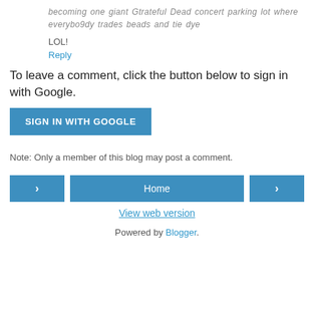becoming one giant Gtrateful Dead concert parking lot where everybo9dy trades beads and tie dye
LOL!
Reply
To leave a comment, click the button below to sign in with Google.
[Figure (other): SIGN IN WITH GOOGLE button, blue rectangle with white text]
Note: Only a member of this blog may post a comment.
[Figure (other): Navigation bar with left arrow button, Home button, and right arrow button]
View web version
Powered by Blogger.